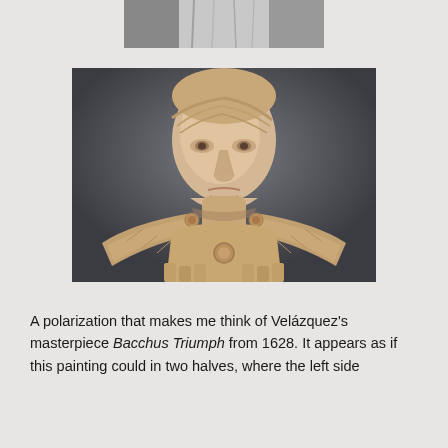[Figure (photo): Partial top of a black and white photograph, showing the bottom portion of a face or figure, cropped at top of page]
[Figure (photo): Marble bust of a Roman emperor (Augustus), showing head and shoulders with military armor (pauldrons), against a dark gray background]
A polarization that makes me think of Velázquez's masterpiece Bacchus Triumph from 1628. It appears as if this painting could in two halves, where the left side